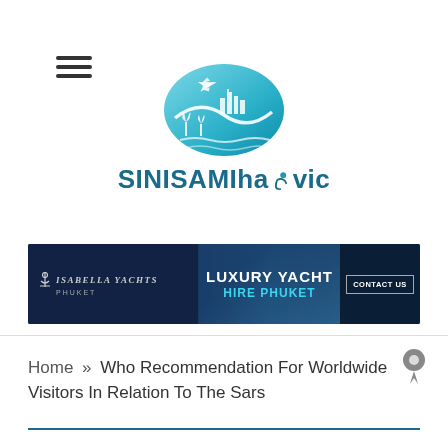[Figure (logo): SINISAMIhajovic website logo with teal oval emblem containing airplane, city skyline, and palm trees above the brand name]
[Figure (infographic): Isabella Yachts Phuket banner advertisement for Luxury Yacht Hire Phuket with Contact Us button]
Home » Who Recommendation For Worldwide Visitors In Relation To The Sars